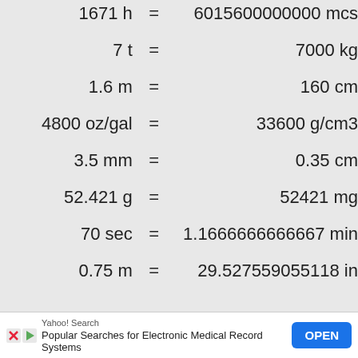| From | = | To |
| --- | --- | --- |
| 1671 h | = | 6015600000000 mcs |
| 7 t | = | 7000 kg |
| 1.6 m | = | 160 cm |
| 4800 oz/gal | = | 33600 g/cm3 |
| 3.5 mm | = | 0.35 cm |
| 52.421 g | = | 52421 mg |
| 70 sec | = | 1.1666666666667 min |
| 0.75 m | = | 29.527559055118 in |
Yahoo! Search
Popular Searches for Electronic Medical Record Systems
OPEN